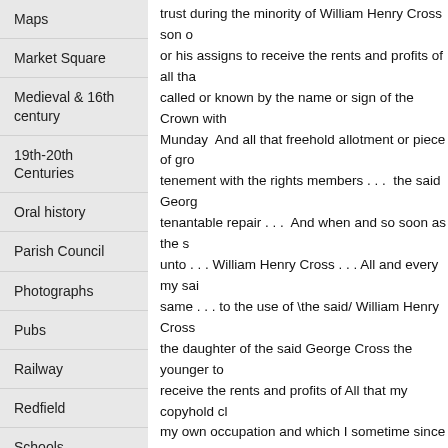Maps
Market Square
Medieval & 16th century
19th-20th Centuries
Oral history
Parish Council
Photographs
Pubs
Railway
Redfield
Schools
17th-18th Centuries
trust during the minority of William Henry Cross son o... or his assigns to receive the rents and profits of all tha... called or known by the name or sign of the Crown with... Munday  And all that freehold allotment or piece of gro... tenement with the rights members . . .  the said Georg... tenantable repair . . .  And when and so soon as the s... unto . . . William Henry Cross . . . All and every my sai... same . . . to the use of \the said/ William Henry Cross ... the daughter of the said George Cross the younger to... receive the rents and profits of All that my copyhold cl... my own occupation and which I sometime since purch... Cross the younger keeping the same in good heart pli... and tenantable repair And when and so soon as the s... said Ann Cross the said close
[p.3] piece or parcel of land or ground hereinbefore m... of the said Ann Cross her heirs and assigns for ever A... this life previous to the said John Cross William Henry... hereby authorise and empower the said David Thoma... rents and profits of the said hereditaments and premis... Ann Cross respectively and by and out of the same to...